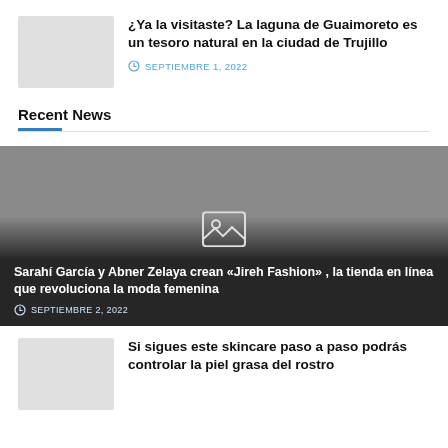[Figure (photo): Thumbnail placeholder image (gray rectangle)]
¿Ya la visitaste? La laguna de Guaimoreto es un tesoro natural en la ciudad de Trujillo
SEPTIEMBRE 1, 2022
Recent News
[Figure (photo): Large featured image placeholder (gray rectangle) with image icon in center. Overlaid text: Sarahí García y Abner Zelaya crean «Jireh Fashion», la tienda en línea que revoluciona la moda femenina. Date: SEPTIEMBRE 2, 2022]
[Figure (photo): Thumbnail placeholder image (gray rectangle) for skincare article]
Si sigues este skincare paso a paso podrás controlar la piel grasa del rostro